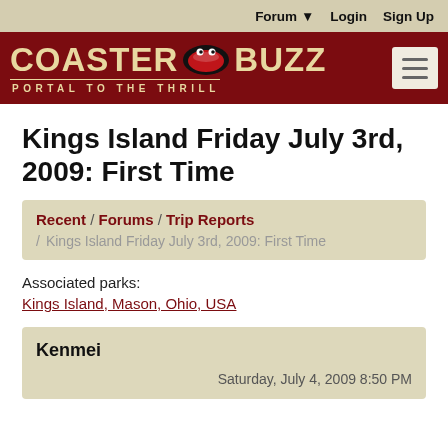Forum ▾   Login   Sign Up
[Figure (logo): CoasterBuzz logo — red bar with COASTER BUZZ text in tan/gold, oval logo icon in center, tagline PORTAL TO THE THRILL, hamburger menu button on right]
Kings Island Friday July 3rd, 2009: First Time
Recent / Forums / Trip Reports / Kings Island Friday July 3rd, 2009: First Time
Associated parks:
Kings Island, Mason, Ohio, USA
Kenmei
Saturday, July 4, 2009 8:50 PM